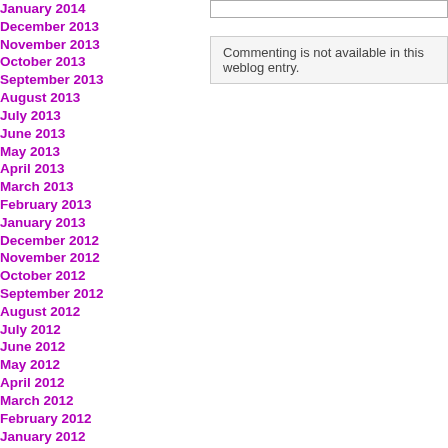January 2014
December 2013
November 2013
October 2013
September 2013
August 2013
July 2013
June 2013
May 2013
April 2013
March 2013
February 2013
January 2013
December 2012
November 2012
October 2012
September 2012
August 2012
July 2012
June 2012
May 2012
April 2012
March 2012
February 2012
January 2012
December 2011
November 2011
October 2011
September 2011
August 2011
July 2011
Commenting is not available in this weblog entry.